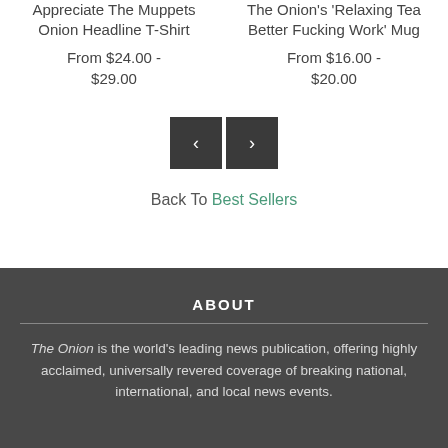Appreciate The Muppets Onion Headline T-Shirt
From $24.00 - $29.00
The Onion's 'Relaxing Tea Better Fucking Work' Mug
From $16.00 - $20.00
[Figure (other): Navigation prev/next arrow buttons (dark square buttons with < and > arrows)]
Back To Best Sellers
ABOUT
The Onion is the world's leading news publication, offering highly acclaimed, universally revered coverage of breaking national, international, and local news events.